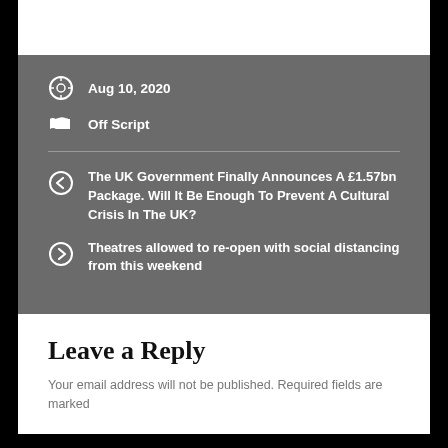Aug 10, 2020
Off Script
The UK Government Finally Announces A £1.57bn Package. Will It Be Enough To Prevent A Cultural Crisis In The UK?
Theatres allowed to re-open with social distancing from this weekend
Leave a Reply
Your email address will not be published. Required fields are marked